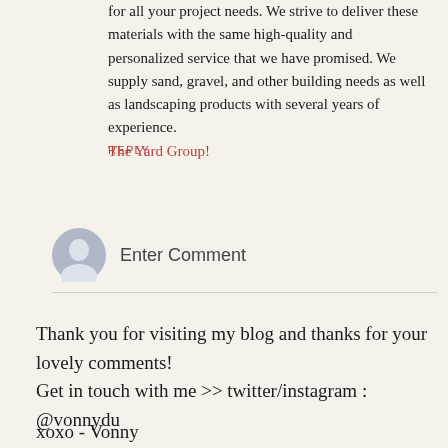for all your project needs. We strive to deliver these materials with the same high-quality and personalized service that we have promised. We supply sand, gravel, and other building needs as well as landscaping products with several years of experience.
The Yard Group!
REPLY
Enter Comment
Thank you for visiting my blog and thanks for your lovely comments!
Get in touch with me >> twitter/instagram : @vonnydu
xoxo - Vonny